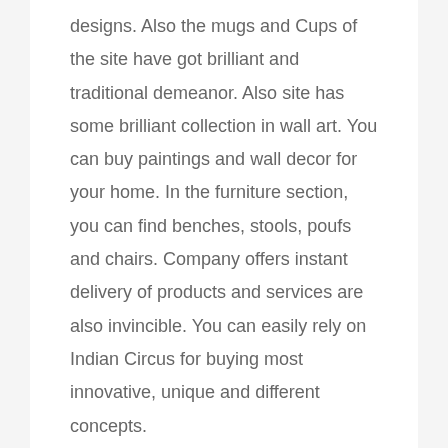designs. Also the mugs and Cups of the site have got brilliant and traditional demeanor. Also site has some brilliant collection in wall art. You can buy paintings and wall decor for your home. In the furniture section, you can find benches, stools, poufs and chairs. Company offers instant delivery of products and services are also invincible. You can easily rely on Indian Circus for buying most innovative, unique and different concepts.
WAYS TO SAVE MONEY AT INDIAN CIRCUS BY USING RUSHTIME.LINK
rushtime.link all its users to take advantage from the services it offer and make shopping fun experience. You can simply visit the page of India Circus at the site and search for most helpful coupons. Just click at the deal